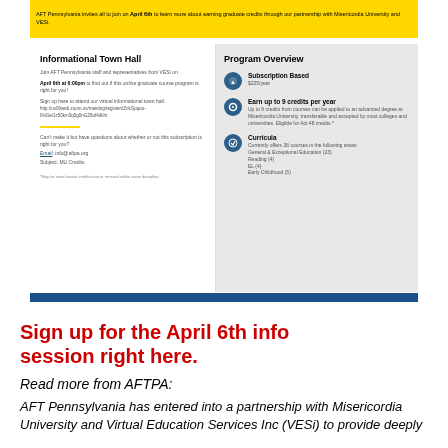[Figure (infographic): Flyer for AFT Pennsylvania and VESi partnership showing yellow banner, informational town hall details on left, program overview on right with subscription, credits, and curricula info, with blue bottom bar]
Sign up for the April 6th info session right here.
Read more from AFTPA:
AFT Pennsylvania has entered into a partnership with Misericordia University and Virtual Education Services Inc (VESi) to provide deeply